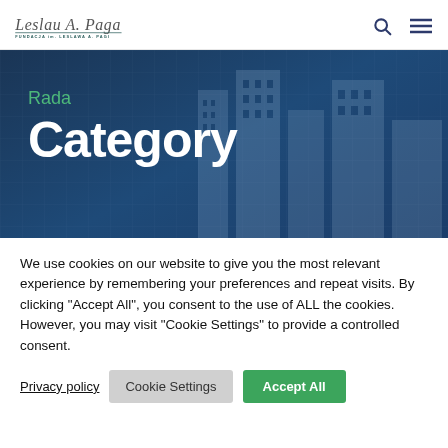FUNDACJA im. LESLAWA A. PAGI
[Figure (illustration): Hero banner with dark blue background, city buildings silhouette overlay. Contains green category label 'Rada' and large white bold text 'Category'.]
We use cookies on our website to give you the most relevant experience by remembering your preferences and repeat visits. By clicking "Accept All", you consent to the use of ALL the cookies. However, you may visit "Cookie Settings" to provide a controlled consent.
Privacy policy | Cookie Settings | Accept All